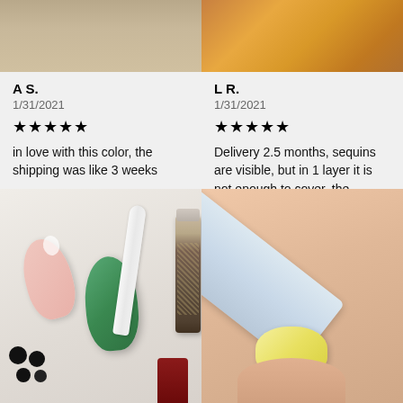[Figure (photo): Top-left photo showing nail products with a beige/brown background]
[Figure (photo): Top-right photo showing nails with orange/yellow tones and glitter]
A S.
1/31/2021
★★★★★
in love with this color, the shipping was like 3 weeks
L R.
1/31/2021
★★★★★
Delivery 2.5 months, sequins are visible, but in 1 layer it is not enough to cover, the varnish is translucent.
[Figure (photo): Bottom-left photo showing pink and green nail swatches with glitter nail polish bottles and black sequins]
[Figure (photo): Bottom-right photo showing a yellow nail being filed with a white nail file]